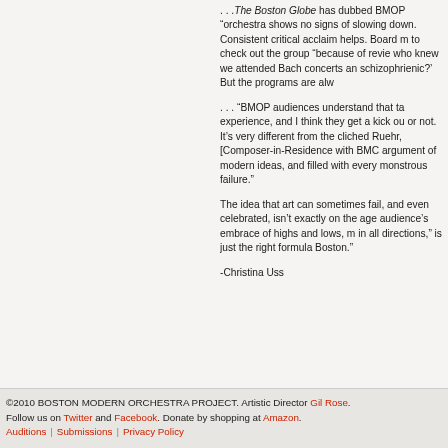. . .The Boston Globe has dubbed BMOP " orchestra shows no signs of slowing down. Consistent critical acclaim helps. Board m to check out the group "because of revie who knew we attended Bach concerts an schizophrienic?' But the programs are alw
. . . "BMOP audiences understand that ta experience, and I think they get a kick ou or not. It's very different from the cliched Ruehr, [Composer-in-Residence with BMC argument of modern ideas, and filled with every monstrous failure."
The idea that art can sometimes fail, and even celebrated, isn't exactly on the age audience's embrace of highs and lows, m in all directions," is just the right formula Boston."
-Christina Uss
©2010 BOSTON MODERN ORCHESTRA PROJECT. Artistic Director Gil Rose. Follow us on Twitter and Facebook. Donate by shopping at Amazon. Auditions | Submissions | Privacy Policy